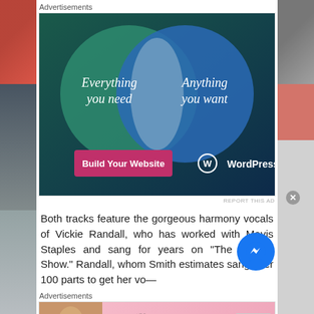Advertisements
[Figure (infographic): WordPress.com advertisement showing a Venn diagram with two overlapping circles. Left circle (green) says 'Everything you need', right circle (blue) says 'Anything you want'. Bottom has a pink 'Build Your Website' button and WordPress.com logo.]
REPORT THIS AD
Both tracks feature the gorgeous harmony vocals of Vickie Randall, who has worked with Mavis Staples and sang for years on “The Tonight Show.” Randall, whom Smith estimates sang over 100 parts to get her vo...
Advertisements
[Figure (photo): Victoria's Secret advertisement with a model, VS logo, 'SHOP THE COLLECTION' text, and 'SHOP NOW' button.]